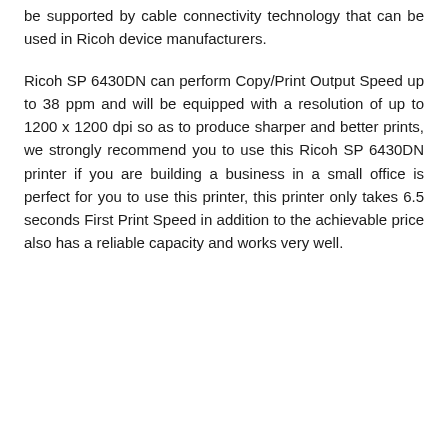be supported by cable connectivity technology that can be used in Ricoh device manufacturers.
Ricoh SP 6430DN can perform Copy/Print Output Speed up to 38 ppm and will be equipped with a resolution of up to 1200 x 1200 dpi so as to produce sharper and better prints, we strongly recommend you to use this Ricoh SP 6430DN printer if you are building a business in a small office is perfect for you to use this printer, this printer only takes 6.5 seconds First Print Speed in addition to the achievable price also has a reliable capacity and works very well.